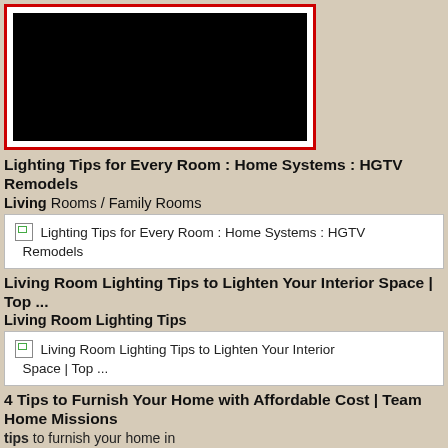[Figure (photo): Black image with red border, likely a video thumbnail placeholder]
Lighting Tips for Every Room : Home Systems : HGTV Remodels
Living Rooms / Family Rooms
[Figure (screenshot): Broken image placeholder: Lighting Tips for Every Room : Home Systems : HGTV Remodels]
Living Room Lighting Tips to Lighten Your Interior Space | Top ...
Living Room Lighting Tips
[Figure (screenshot): Broken image placeholder: Living Room Lighting Tips to Lighten Your Interior Space | Top ...]
4 Tips to Furnish Your Home with Affordable Cost | Team Home Missions
tips to furnish your home in
[Figure (screenshot): Broken image placeholder: 4 Tips to Furnish Your Home with Affordable Cost | Team Home Missions]